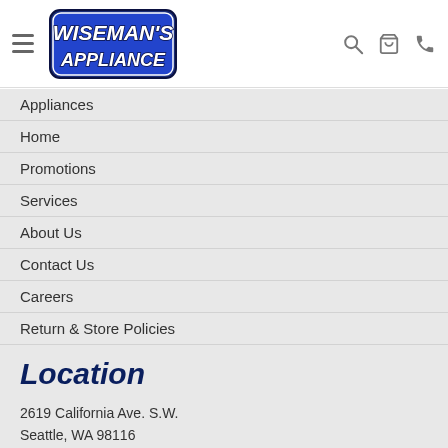[Figure (logo): Wiseman's Appliance logo with stylized text in blue and white with dark border]
Appliances
Home
Promotions
Services
About Us
Contact Us
Careers
Return & Store Policies
Location
2619 California Ave. S.W.
Seattle, WA 98116
Phone 206.937.7600